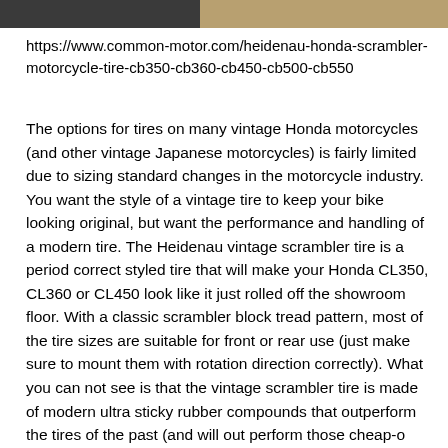[Figure (photo): Partial image strip at top of page showing two photos of motorcycle tires/wheels, cropped.]
https://www.common-motor.com/heidenau-honda-scrambler-motorcycle-tire-cb350-cb360-cb450-cb500-cb550
The options for tires on many vintage Honda motorcycles (and other vintage Japanese motorcycles) is fairly limited due to sizing standard changes in the motorcycle industry. You want the style of a vintage tire to keep your bike looking original, but want the performance and handling of a modern tire. The Heidenau vintage scrambler tire is a period correct styled tire that will make your Honda CL350, CL360 or CL450 look like it just rolled off the showroom floor. With a classic scrambler block tread pattern, most of the tire sizes are suitable for front or rear use (just make sure to mount them with rotation direction correctly). What you can not see is that the vintage scrambler tire is made of modern ultra sticky rubber compounds that outperform the tires of the past (and will out perform those cheap-o tires that are rotting on your bike now). Just because this is a "Scrambler" styled